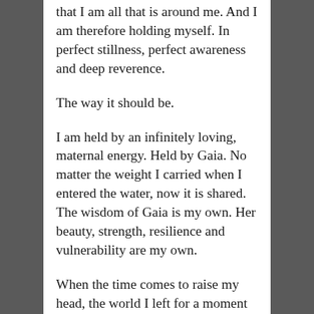that I am all that is around me. And I am therefore holding myself. In perfect stillness, perfect awareness and deep reverence.
The way it should be.
I am held by an infinitely loving, maternal energy. Held by Gaia. No matter the weight I carried when I entered the water, now it is shared. The wisdom of Gaia is my own. Her beauty, strength, resilience and vulnerability are my own.
When the time comes to raise my head, the world I left for a moment seems quiet and calm. There is a tranquility, a slowness that pervades the air and the land, reflected in the gentle beating of my heart